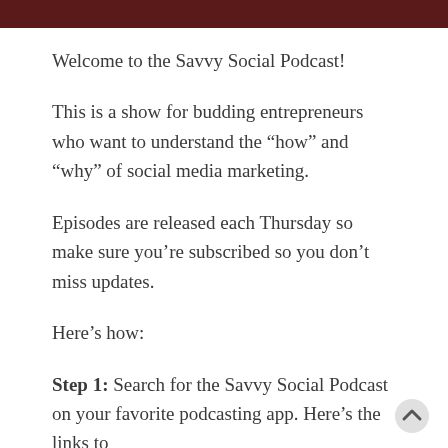Welcome to the Savvy Social Podcast!
This is a show for budding entrepreneurs who want to understand the “how” and “why” of social media marketing.
Episodes are released each Thursday so make sure you’re subscribed so you don’t miss updates.
Here’s how:
Step 1: Search for the Savvy Social Podcast on your favorite podcasting app. Here’s the links to